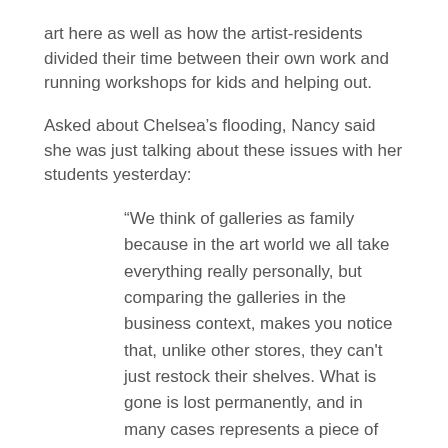art here as well as how the artist-residents divided their time between their own work and running workshops for kids and helping out.
Asked about Chelsea’s flooding, Nancy said she was just talking about these issues with her students yesterday:
“We think of galleries as family because in the art world we all take everything really personally, but comparing the galleries in the business context, makes you notice that, unlike other stores, they can’t just restock their shelves. What is gone is lost permanently, and in many cases represents a piece of human labor and thought that will not ever be replaced.”
Talking about the effect on businesses whether upstate or down, art world or not she says: